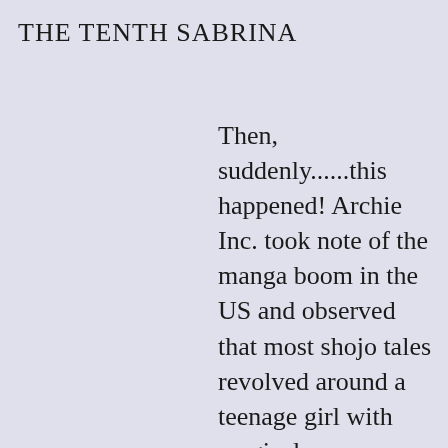THE TENTH SABRINA
Then, suddenly......this happened! Archie Inc. took note of the manga boom in the US and observed that most shojo tales revolved around a teenage girl with magical powers. Well, they already had one of those! They decided to make a faux-